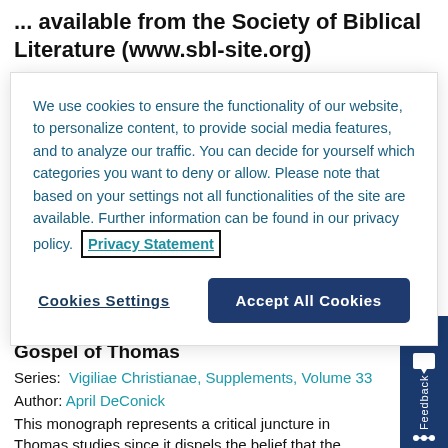... available from the Society of Biblical Literature (www.sbl-site.org)
We use cookies to ensure the functionality of our website, to personalize content, to provide social media features, and to analyze our traffic. You can decide for yourself which categories you want to deny or allow. Please note that based on your settings not all functionalities of the site are available. Further information can be found in our privacy policy. Privacy Statement
Cookies Settings | Accept All Cookies
Ascent and Vision Mysticism in the Gospel of Thomas
Series: Vigiliae Christianae, Supplements, Volume 33
Author: April DeConick
This monograph represents a critical juncture in Thomas studies since it dispels the belief that the Gospel of Thomas originates from gnostic...